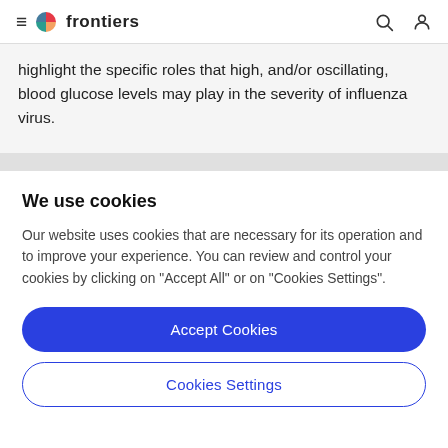frontiers
highlight the specific roles that high, and/or oscillating, blood glucose levels may play in the severity of influenza virus.
We use cookies
Our website uses cookies that are necessary for its operation and to improve your experience. You can review and control your cookies by clicking on "Accept All" or on "Cookies Settings".
Accept Cookies
Cookies Settings